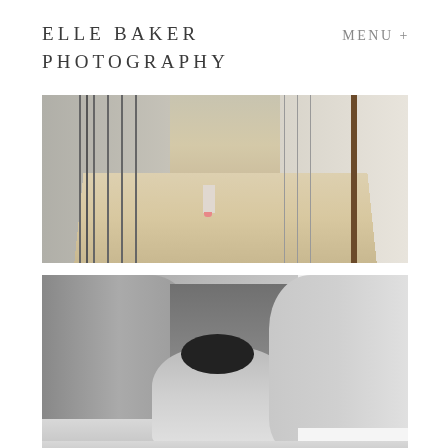ELLE BAKER
PHOTOGRAPHY
MENU +
[Figure (photo): A child walking down a carpeted hallway with stair banisters and railings on both sides, shot from a low angle perspective. The child's feet in pink shoes are visible at the far end of the hallway.]
[Figure (photo): Black and white photograph of a young child crawling into or under a blanket fort made of draped fabric/sheets, with a carpeted room visible to the right.]